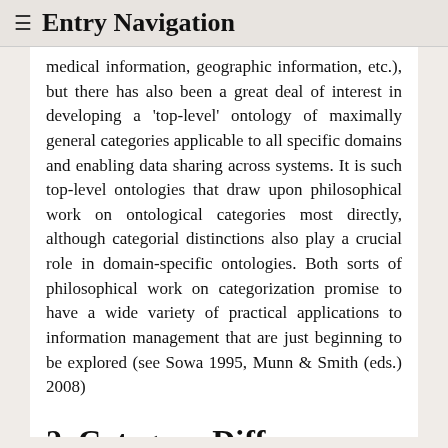≡  Entry Navigation
medical information, geographic information, etc.), but there has also been a great deal of interest in developing a 'top-level' ontology of maximally general categories applicable to all specific domains and enabling data sharing across systems. It is such top-level ontologies that draw upon philosophical work on ontological categories most directly, although categorial distinctions also play a crucial role in domain-specific ontologies. Both sorts of philosophical work on categorization promise to have a wide variety of practical applications to information management that are just beginning to be explored (see Sowa 1995, Munn & Smith (eds.) 2008)
2. Category Differences
Much recent work on categories has been influenced by skepticism about the possibility of offering a system of ontological categories. Difficulties like those mentioned above have undermined the idea that a uniquely true and comprehensive system of ontological categories can be